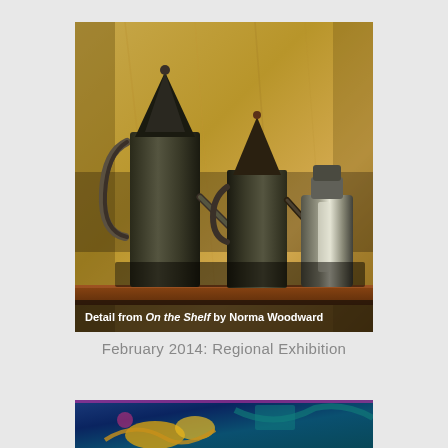[Figure (photo): A photograph detail from a painting titled 'On the Shelf' by Norma Woodward, showing three metallic watering cans and a bottle arranged on a wooden shelf against a warm golden-brown wall background. White caption text overlaid at bottom reads: 'Detail from On the Shelf by Norma Woodward'.]
February 2014: Regional Exhibition
[Figure (photo): Partial view of another artwork at the bottom of the page, showing a blue-toned abstract or figurative painting with yellow and magenta accents.]